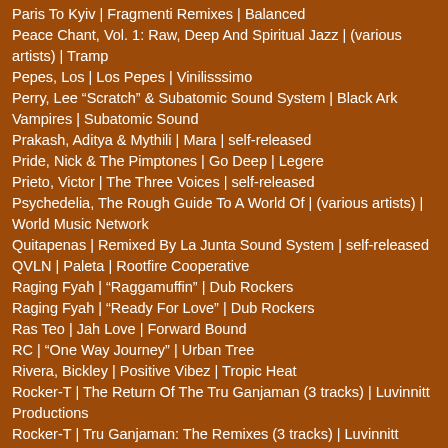Paris To Kyiv | Fragmenti Remixes | Balanced
Peace Chant, Vol. 1: Raw, Deep And Spiritual Jazz | (various artists) | Tramp
Pepes, Los | Los Pepes | Vinilisssimo
Perry, Lee "Scratch" & Subatomic Sound System | Black Ark Vampires | Subatomic Sound
Prakash, Aditya & Mythili | Mara | self-released
Pride, Nick & The Pimptones | Go Deep | Legere
Prieto, Victor | The Three Voices | self-released
Psychedelia, The Rough Guide To A World Of | (various artists) | World Music Network
Quitapenas | Remixed By La Junta Sound System | self-released
QVLN | Paleta | Rootfire Cooperative
Raging Fyah | "Raggamuffin" | Dub Rockers
Raging Fyah | "Ready For Love" | Dub Rockers
Ras Teo | Jah Love | Forward Bound
RC | "One Way Journey" | Urban Tree
Rivera, Bickley | Positive Vibez | Tropic Heat
Rocker-T | The Return Of The Tru Ganjaman (3 tracks) | Luvinnitt Productions
Rocker-T | Tru Ganjaman: The Remixes (3 tracks) | Luvinnitt